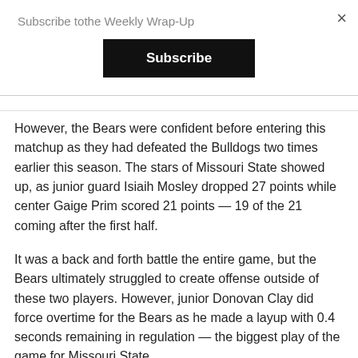Subscribe tothe Weekly Wrap-Up
Subscribe
However, the Bears were confident before entering this matchup as they had defeated the Bulldogs two times earlier this season. The stars of Missouri State showed up, as junior guard Isiaih Mosley dropped 27 points while center Gaige Prim scored 21 points — 19 of the 21 coming after the first half.
It was a back and forth battle the entire game, but the Bears ultimately struggled to create offense outside of these two players. However, junior Donovan Clay did force overtime for the Bears as he made a layup with 0.4 seconds remaining in regulation — the biggest play of the game for Missouri State.